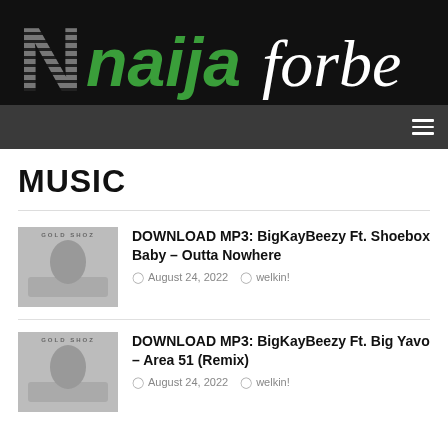[Figure (logo): Naijaforbe website logo on black background with large striped N and green Naija italic text with white forbe serif text]
[Figure (screenshot): Dark gray navigation bar with hamburger menu icon on the right]
MUSIC
[Figure (photo): Thumbnail image for BigKayBeezy Ft. Shoebox Baby - Outta Nowhere article]
DOWNLOAD MP3: BigKayBeezy Ft. Shoebox Baby – Outta Nowhere
August 24, 2022  welkin!
[Figure (photo): Thumbnail image for BigKayBeezy Ft. Big Yavo – Area 51 (Remix) article]
DOWNLOAD MP3: BigKayBeezy Ft. Big Yavo – Area 51 (Remix)
August 24, 2022  welkin!